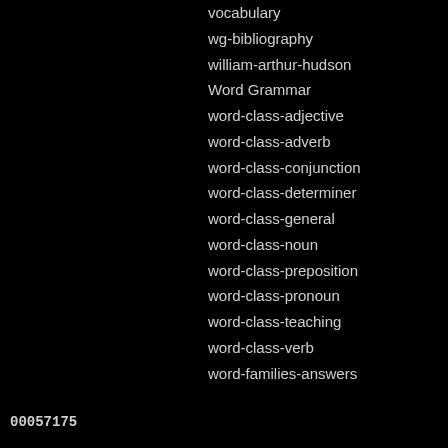vocabulary
wg-bibliography
william-arthur-hudson
Word Grammar
word-class-adjective
word-class-adverb
word-class-conjunction
word-class-determiner
word-class-general
word-class-noun
word-class-preposition
word-class-pronoun
word-class-teaching
word-class-verb
word-families-answers
00057175